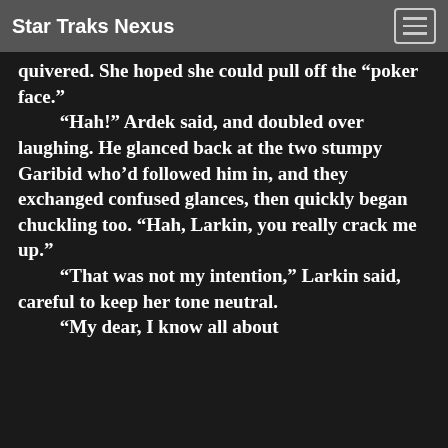Star Traks Nexus
quivered. She hoped she could pull off the “poker face.” “Hah!” Ardek said, and doubled over laughing. He glanced back at the two stumpy Garibid who’d followed him in, and they exchanged confused glances, then quickly began chuckling too. “Hah, Larkin, you really crack me up.” “That was not my intention,” Larkin said, careful to keep her tone neutral. “My dear, I know all about